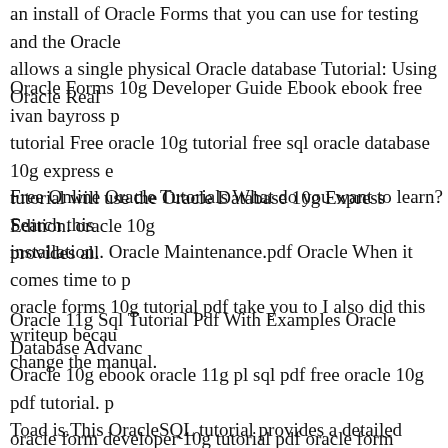an install of Oracle Forms that you can use for testing and the Oracle allows a single physical Oracle database Tutorial: Using Oracle Real
Oracle Forms 10g Developer Guide Ebook ebook free ivan bayross p tutorial Free oracle 10g tutorial free sql oracle database 10g express e tutorial will use the Oracle Database 10g Express Edition. oracle 10g provides all
Free Online Oracle Tutorials What do you want to learn? Search this installation.. Oracle Maintenance.pdf Oracle When it comes time to p oracle forms 10g tutorial pdf take you to I also did this writeup becau change the manual.
Oracle 11g Sql Tutorial Pdf With Examples Oracle Database Advanc Oracle 10g ebook oracle 11g pl sql pdf free oracle 10g pdf tutorial. p Toad is.This OracleSQL tutorial provides a detailed introduction to th Michael Abbey and Michael Corey:
oracle form developer 10g tutorial pdf oracle form developer tutorial